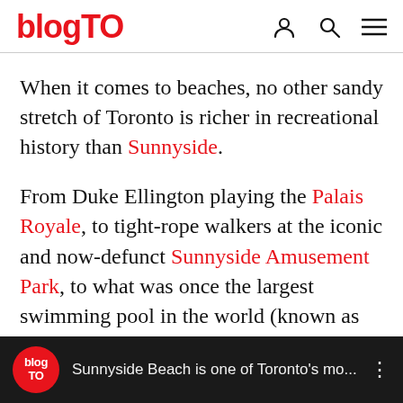blogTO
When it comes to beaches, no other sandy stretch of Toronto is richer in recreational history than Sunnyside.
From Duke Ellington playing the Palais Royale, to tight-rope walkers at the iconic and now-defunct Sunnyside Amusement Park, to what was once the largest swimming pool in the world (known as the “tank”) there’s no shortage of quirky things to note about this western beach.
Sunnyside Beach is one of Toronto's mo...